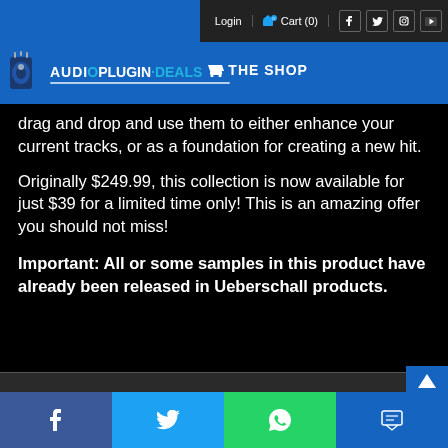Login  Cart (0)
[Figure (logo): AudioPlugin.Deals THE SHOP logo on blue background]
drag and drop and use them to either enhance your current tracks, or as a foundation for creating a new hit.
Originally $249.99, this collection is now available for just $39 for a limited time only! This is an amazing offer you should not miss!
Important: All or some samples in this product have already been released in Ueberschall products.
Your browser settings do not allow cross-site tracking for advertising. Click on this page to allow AdRoll to use cross-site tracking to tailor ads to you. Learn more or opt out of this AdRoll tracking by clicking here. This message only appears once.
Our Back to School mega event is on! Use code APD-BACK2SCHOOL22 at checkout to get 15% off. All products.